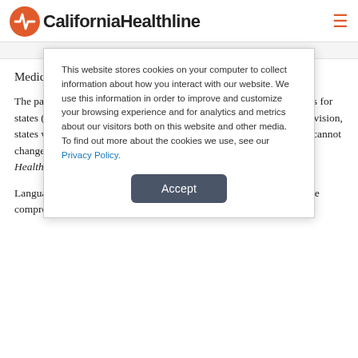California Healthline
Medicaid Funds for States
The package includes $87 billion in additional federal Medicaid funds for states (Benac, AP/Minneapolis Star Tribune, 2/12). Under the provision, states will receive the funds over 27 months, during which time they cannot change their eligibility requirements for the program (Carey, CQ HealthBeat, 2/12).
Language the House Energy and Commerce Committee inserted in the compromise legislation allocated more federal funds for
This website stores cookies on your computer to collect information about how you interact with our website. We use this information in order to improve and customize your browsing experience and for analytics and metrics about our visitors both on this website and other media. To find out more about the cookies we use, see our Privacy Policy.